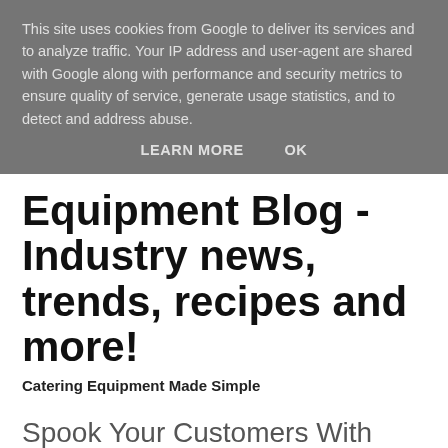This site uses cookies from Google to deliver its services and to analyze traffic. Your IP address and user-agent are shared with Google along with performance and security metrics to ensure quality of service, generate usage statistics, and to detect and address abuse.
LEARN MORE    OK
Equipment Blog - Industry news, trends, recipes and more!
Catering Equipment Made Simple
Spook Your Customers With Easy To Make Halloween Drinks
[Figure (photo): Bottom portion of a photo showing Halloween drinks, partially cropped at page bottom]